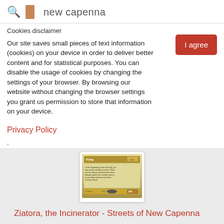new capenna
Cookies disclaimer
Our site saves small pieces of text information (cookies) on your device in order to deliver better content and for statistical purposes. You can disable the usage of cookies by changing the settings of your browser. By browsing our website without changing the browser settings you grant us permission to store that information on your device.
I agree
Privacy Policy
,
[Figure (photo): A Magic: The Gathering card image showing text with Flying ability and other card text]
Ziatora, the Incinerator - Streets of New Capenna